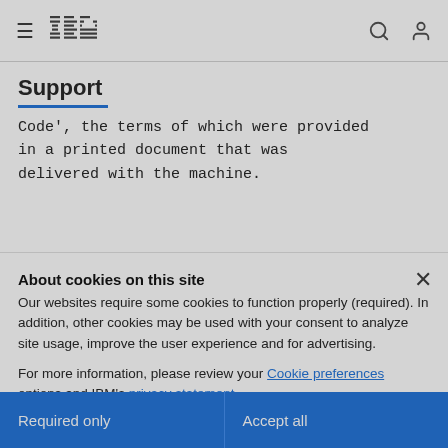IBM Support
Code', the terms of which were provided in a printed document that was delivered with the machine.
About cookies on this site
Our websites require some cookies to function properly (required). In addition, other cookies may be used with your consent to analyze site usage, improve the user experience and for advertising.
For more information, please review your Cookie preferences options and IBM's privacy statement.
Required only
Accept all